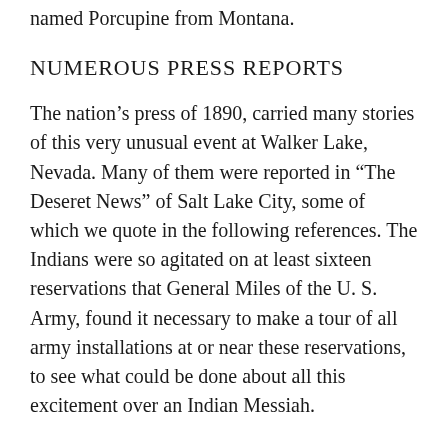named Porcupine from Montana.
NUMEROUS PRESS REPORTS
The nation’s press of 1890, carried many stories of this very unusual event at Walker Lake, Nevada. Many of them were reported in “The Deseret News” of Salt Lake City, some of which we quote in the following references. The Indians were so agitated on at least sixteen reservations that General Miles of the U. S. Army, found it necessary to make a tour of all army installations at or near these reservations, to see what could be done about all this excitement over an Indian Messiah.
The so-called “Messiah Craze” had become the inspiration for Chief Sitting Bull of the Sioux to believe that he could arouse the Indians to another victory greater than the defeat of Custer’s forces at the Little Big Horn, for the Messiah had promised them that the Whites should be destroyed from off the face